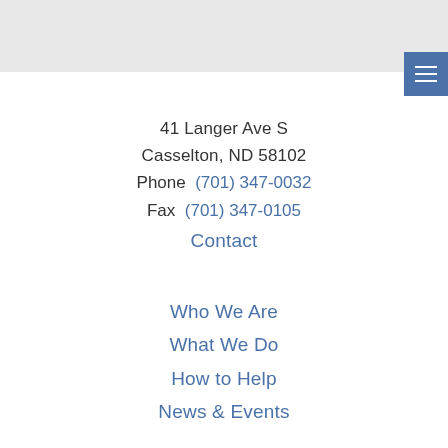[Figure (other): Gray header bar at top of page with partial logo/text visible]
[Figure (other): Blue menu button with three horizontal white lines (hamburger icon)]
41 Langer Ave S
Casselton, ND 58102
Phone  (701) 347-0032
Fax  (701) 347-0105
Contact
Who We Are
What We Do
How to Help
News & Events